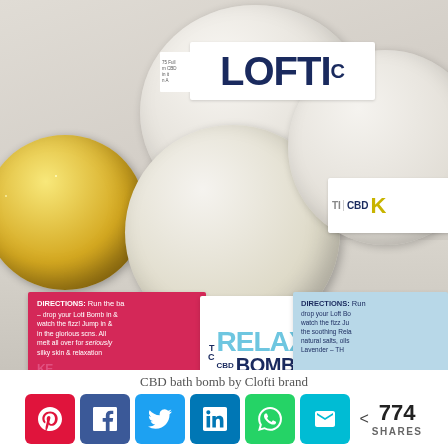[Figure (photo): CBD bath bombs from Lofti brand – three cream/white bath bombs and one gold glitter bath bomb arranged together, each with product labels reading 'CBD RELAX BOMB', 'LOFTI', and directions for use]
CBD bath bomb by Lofti brand
774 SHARES